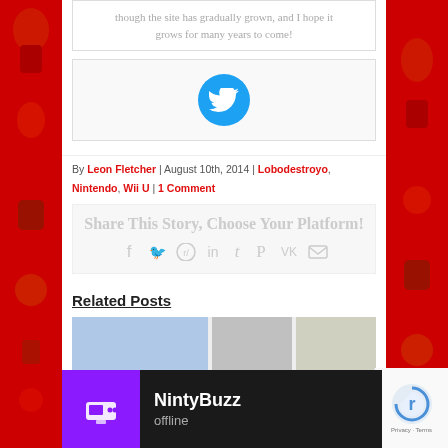though the site has gradually grown, and I hope it grows for many years to come!
[Figure (logo): Twitter bird icon in blue circle]
By Leon Fletcher | August 10th, 2014 | Lobodestroyo, Nintendo, Wii U | 1 Comment
[Figure (infographic): Share This Story, Choose Your Platform! with social media icons: Facebook, Twitter, Reddit, LinkedIn, Tumblr, Pinterest, VK, Email]
Related Posts
[Figure (screenshot): NintyBuzz offline notification bar with purple icon showing a retro game console, name NintyBuzz, status offline]
[Figure (photo): Related post thumbnail images at bottom of page]